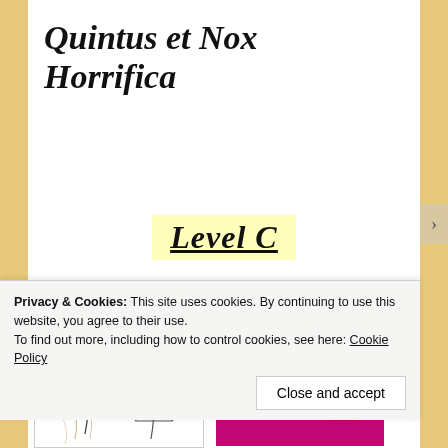Quintus et Nox Horrifica
Level C
[Figure (illustration): Pencil sketch illustration of a figure, possibly classical/Roman style characters]
[Figure (illustration): Purple book cover for 'Pluto fabula amoris' with white serif text on dark purple background and magenta/pink accent at bottom]
Privacy & Cookies: This site uses cookies. By continuing to use this website, you agree to their use.
To find out more, including how to control cookies, see here: Cookie Policy
Close and accept